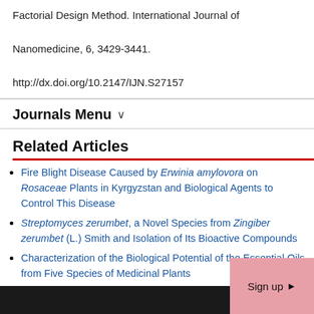Factorial Design Method. International Journal of Nanomedicine, 6, 3429-3441.
http://dx.doi.org/10.2147/IJN.S27157
Journals Menu
Related Articles
Fire Blight Disease Caused by Erwinia amylovora on Rosaceae Plants in Kyrgyzstan and Biological Agents to Control This Disease
Streptomyces zerumbet, a Novel Species from Zingiber zerumbet (L.) Smith and Isolation of Its Bioactive Compounds
Characterization of the Biological Potential of the Essential Oils from Five Species of Medicinal Plants
Invasive Species Control Based on a Cooperative Game